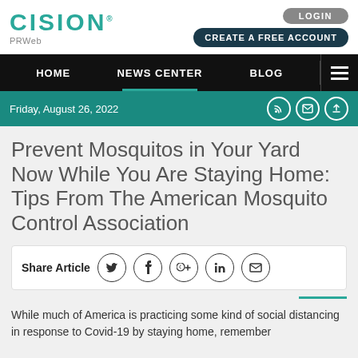CISION PRWeb
LOGIN | CREATE A FREE ACCOUNT
HOME | NEWS CENTER | BLOG
Friday, August 26, 2022
Prevent Mosquitos in Your Yard Now While You Are Staying Home: Tips From The American Mosquito Control Association
Share Article
While much of America is practicing some kind of social distancing in response to Covid-19 by staying home, remember